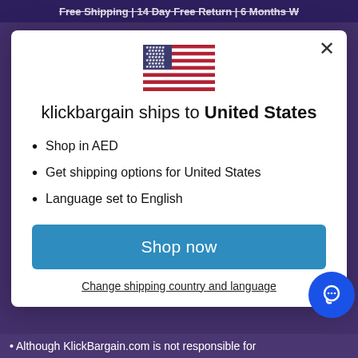Free Shipping | 14 Day Free Return | 6 Months W
[Figure (illustration): United States flag emoji/icon centered in modal]
klickbargain ships to United States
Shop in AED
Get shipping options for United States
Language set to English
Shop now
Change shipping country and language
• Although KlickBargain.com is not responsible for